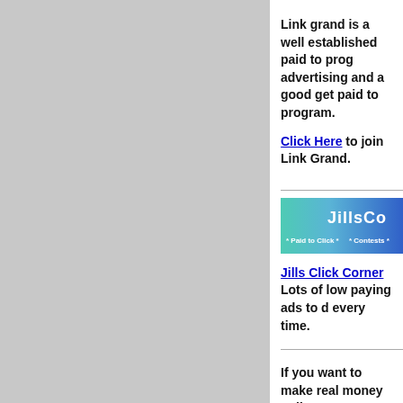Link grand is a well established paid to prog advertising and a good get paid to program.
Click Here to join Link Grand.
[Figure (illustration): JillsClickCorner banner - teal to blue gradient with logo text 'JillsCo' and text '* Paid to Click *  * Contests *']
Jills Click Corner Lots of low paying ads to d every time.
If you want to make real money online, you w something more than a paid to program. He recommend.
Ultimate Downlines - You can promote 6 pay